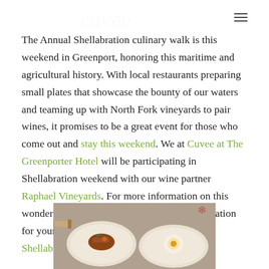The Annual Shellabration culinary walk is this weekend in Greenport, honoring this maritime and agricultural history. With local restaurants preparing small plates that showcase the bounty of our waters and teaming up with North Fork vineyards to pair wines, it promises to be a great event for those who come out and stay this weekend. We at Cuvee at The Greenporter Hotel will be participating in Shellabration weekend with our wine partner Raphael Vineyards. For more information on this wonderful annual event and to make your donation for your event bracelets, visit the official Shellabration website.
[Figure (photo): Two white dinner plates with small food portions on a dark surface, partially visible at the bottom of the page]